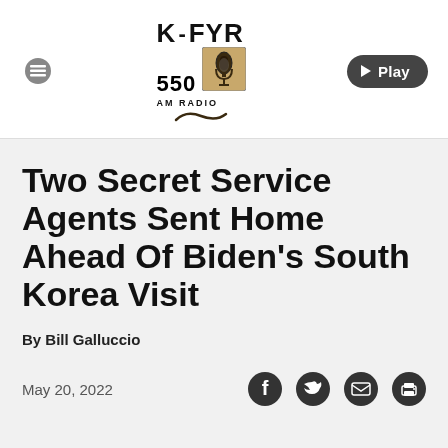[Figure (logo): KFYR 550 AM Radio logo with microphone image]
Two Secret Service Agents Sent Home Ahead Of Biden's South Korea Visit
By Bill Galluccio
May 20, 2022